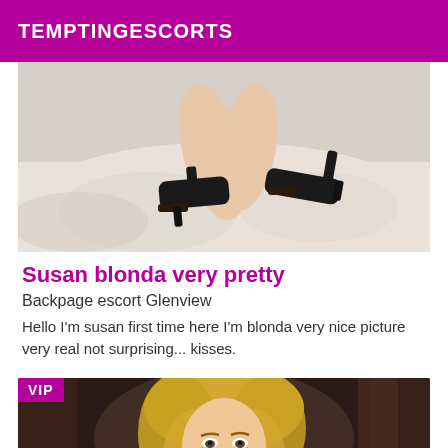TEMPTINGESCORTS
[Figure (photo): Close-up photo of a woman's legs and feet wearing black high heel stiletto shoes, lying on a white surface/bed]
Susan blonda very pretty
Backpage escort Glenview
Hello I'm susan first time here I'm blonda very nice picture very real not surprising... kisses.
[Figure (photo): Photo of a blonde woman with wavy hair, VIP badge overlay in top-left corner, dark curtain background]